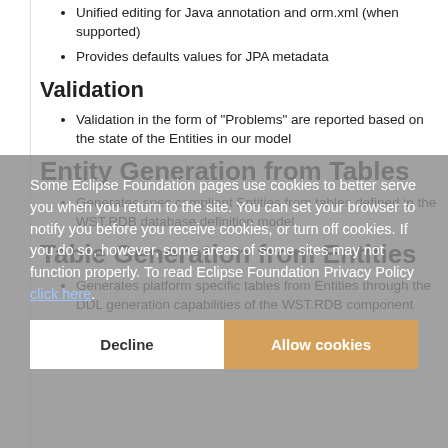Unified editing for Java annotation and orm.xml (when supported)
Provides defaults values for JPA metadata
Validation
Validation in the form of "Problems" are reported based on the state of the Entities in our model
Entity Generation from Tables
Generates spec compliant Entities from tables defined in the WST.RDB database definition model
Table Generation from Entities
Generates platform specific tables from Entities through the DDL generation capabilities of the WST.RDB component
Architecture diagram
Some Eclipse Foundation pages use cookies to better serve you when you return to the site. You can set your browser to notify you before you receive cookies, or turn off cookies. If you do so, however, some areas of some sites may not function properly. To read Eclipse Foundation Privacy Policy click here.